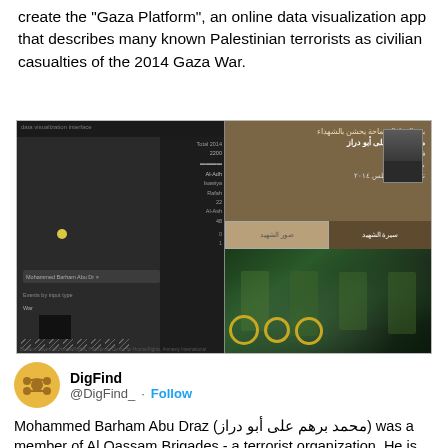create the "Gaza Platform", an online data visualization app that describes many known Palestinian terrorists as civilian casualties of the 2014 Gaza War.
[Figure (screenshot): Two-panel screenshot: left panel shows a dark mapping/data visualization interface with a yellow dot and bar chart; right panel shows an Arabic-language profile page of a person with photo, text fields, and action buttons, alongside a photo of armed militants with green flags and gold circular emblems.]
DigFind
@DigFind_ · Follow
Mohammed Barham Abu Draz (محمد برهم على أبو دراز) was a member of Al Qassam Brigades - a terrorist organization. He is listed as civilian casualty.
gazaplatform.amnesty.org/#1528